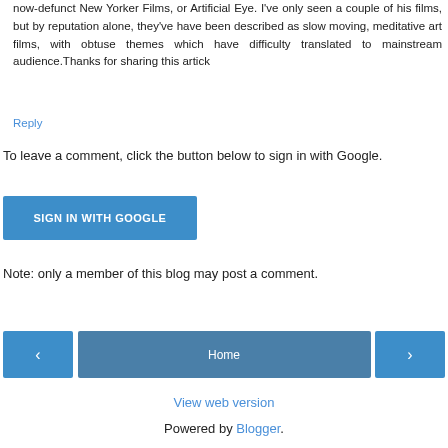now-defunct New Yorker Films, or Artificial Eye. I've only seen a couple of his films, but by reputation alone, they've have been described as slow moving, meditative art films, with obtuse themes which have difficulty translated to mainstream audience.Thanks for sharing this artick
Reply
To leave a comment, click the button below to sign in with Google.
[Figure (other): Blue button labeled SIGN IN WITH GOOGLE]
Note: only a member of this blog may post a comment.
[Figure (other): Navigation bar with left arrow button, Home button, and right arrow button]
View web version
Powered by Blogger.